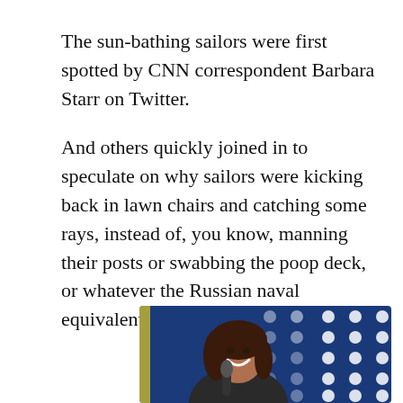The sun-bathing sailors were first spotted by CNN correspondent Barbara Starr on Twitter.
And others quickly joined in to speculate on why sailors were kicking back in lawn chairs and catching some rays, instead of, you know, manning their posts or swabbing the poop deck, or whatever the Russian naval equivalent is.
[Figure (photo): A smiling woman in a dark suit holding a microphone, standing in front of a blue background with white stars (American flag).]